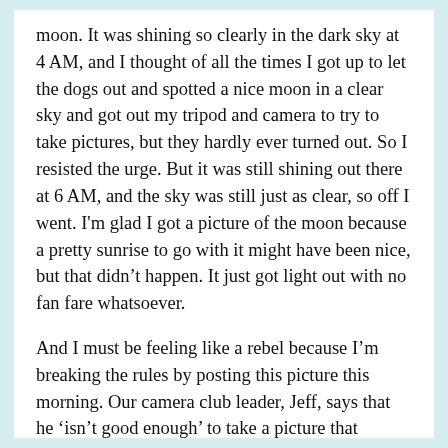moon.  It was shining so clearly in the dark sky at 4 AM, and I thought of all the times I got up to let the dogs out and spotted a nice moon in a clear sky and got out my tripod and camera to try to take pictures, but they hardly ever turned out.  So I resisted the urge.  But it was still shining out there at 6 AM, and the sky was still just as clear, so off I went.  I'm glad I got a picture of the moon because a pretty sunrise to go with it might have been nice, but that didn't happen.  It just got light out with no fan fare whatsoever.
And I must be feeling like a rebel because I'm breaking the rules by posting this picture this morning.  Our camera club leader, Jeff, says that he 'isn't good enough' to take a picture that doesn't need to be cropped.  I wonder if he has any idea how seriously I take his comments, taking them to